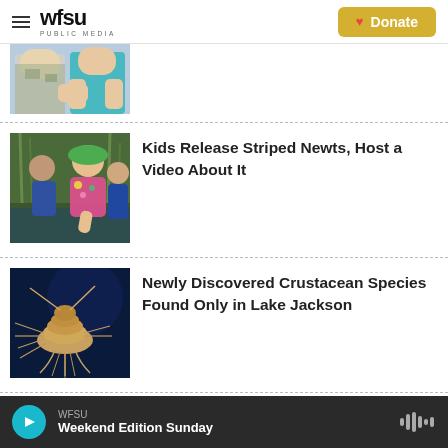WFSU PUBLIC MEDIA | Donate
[Figure (photo): Two people sitting together, one wearing a teal shirt and one in a patterned top]
[Figure (photo): Children releasing striped newts in a marshy area, a girl in a green hat bending toward water surrounded by wetland grasses]
Kids Release Striped Newts, Host a Video About It
[Figure (photo): A crustacean specimen photographed against a dark blue background]
Newly Discovered Crustacean Species Found Only in Lake Jackson
WFSU Weekend Edition Sunday